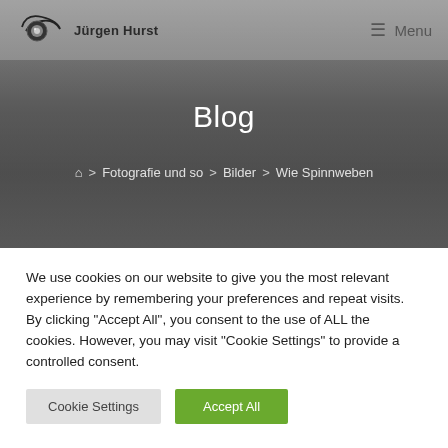[Figure (screenshot): Website header with dark gray seascape/horizon photo background. Navigation bar at top with Jürgen Hurst photography logo on left and Menu button (hamburger icon) on right.]
Blog
⌂ > Fotografie und so > Bilder > Wie Spinnweben
We use cookies on our website to give you the most relevant experience by remembering your preferences and repeat visits. By clicking "Accept All", you consent to the use of ALL the cookies. However, you may visit "Cookie Settings" to provide a controlled consent.
Cookie Settings   Accept All